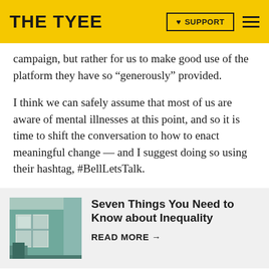THE TYEE | SUPPORT
campaign, but rather for us to make good use of the platform they have so “generously” provided.
I think we can safely assume that most of us are aware of mental illnesses at this point, and so it is time to shift the conversation to how to enact meaningful change — and I suggest doing so using their hashtag, #BellLetsTalk.
[Figure (photo): Photo of a green building exterior with a window, likely a storefront.]
Seven Things You Need to Know about Inequality
READ MORE →
We could share ideas for how Bell could improve the